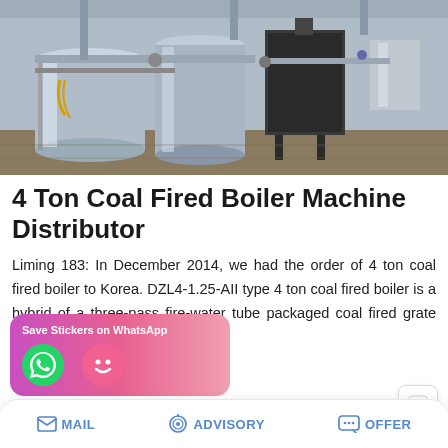[Figure (photo): Industrial boiler room with large cylindrical steel tanks, pipes, ducting, and a coal-fired boiler unit. Photo taken from a low angle showing the machinery interior.]
4 Ton Coal Fired Boiler Machine Distributor
Liming 183: In December 2014, we had the order of 4 ton coal fired boiler to Korea. DZL4-1.25-AII type 4 ton coal fired boiler is a hybrid of a three-pass fire-water tube packaged coal fired grate boiler with rated stea…
[Figure (screenshot): WhatsApp sticker save banner with pink/purple gradient background, showing 'Save Stickers on WhatsApp' text and two circular icons (green WhatsApp phone icon and pink emoji icon).]
MAIL   ADVISORY   OFFER